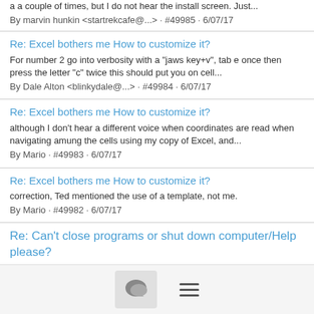a a couple of times, but I do not hear the install screen. Just...
By marvin hunkin <startrekcafe@...> · #49985 · 6/07/17
Re: Excel bothers me How to customize it?
For number 2 go into verbosity with a "jaws key+v", tab e once then press the letter "c" twice this should put you on cell...
By Dale Alton <blinkydale@...> · #49984 · 6/07/17
Re: Excel bothers me How to customize it?
although I don't hear a different voice when coordinates are read when navigating amung the cells using my copy of Excel, and...
By Mario · #49983 · 6/07/17
Re: Excel bothers me How to customize it?
correction, Ted mentioned the use of a template, not me.
By Mario · #49982 · 6/07/17
Re: Can't close programs or shut down computer/Help please?
[Figure (screenshot): Bottom navigation bar with chat bubble icon and hamburger menu icon]